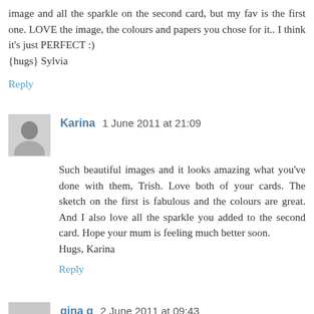image and all the sparkle on the second card, but my fav is the first one. LOVE the image, the colours and papers you chose for it.. I think it's just PERFECT :)
{hugs} Sylvia
Reply
Karina  1 June 2011 at 21:09
Such beautiful images and it looks amazing what you've done with them, Trish. Love both of your cards. The sketch on the first is fabulous and the colours are great. And I also love all the sparkle you added to the second card. Hope your mum is feeling much better soon.
Hugs, Karina
Reply
gina g  2 June 2011 at 09:43
Gorgeous cards Trish Day Dreamer is my fav too one though, so glad that your mum is ok hun. luv gina xx